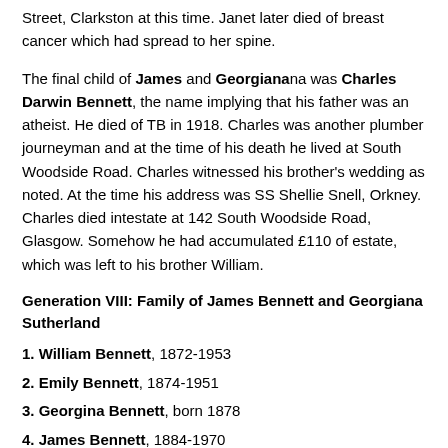Street, Clarkston at this time. Janet later died of breast cancer which had spread to her spine.
The final child of James and Georgiana was Charles Darwin Bennett, the name implying that his father was an atheist. He died of TB in 1918. Charles was another plumber journeyman and at the time of his death he lived at South Woodside Road. Charles witnessed his brother's wedding as noted. At the time his address was SS Shellie Snell, Orkney. Charles died intestate at 142 South Woodside Road, Glasgow. Somehow he had accumulated £110 of estate, which was left to his brother William.
Generation VIII: Family of James Bennett and Georgiana Sutherland
1. William Bennett, 1872-1953
2. Emily Bennett, 1874-1951
3. Georgina Bennett, born 1878
4. James Bennett, 1884-1970
5. Maria Bennett, 1881-1955
6. Charles Darwin Bennett, 1887-1918